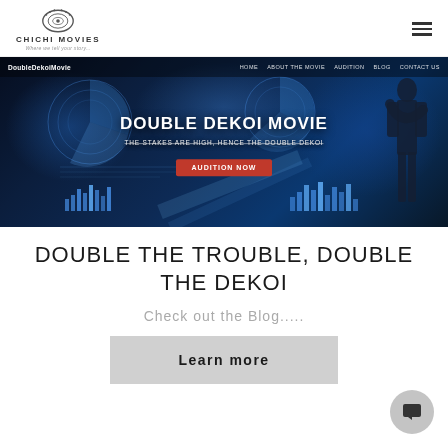Chichi Movies — Where we tell your story
[Figure (screenshot): Hero banner for Double Dekoi Movie website showing a dark tech background with a silhouetted man, navigation bar with links, title 'DOUBLE DEKOI MOVIE', subtitle 'THE STAKES ARE HIGH, HENCE THE DOUBLE DEKOI', and a red 'AUDITION NOW' button]
DOUBLE THE TROUBLE, DOUBLE THE DEKOI
Check out the Blog.....
Learn more